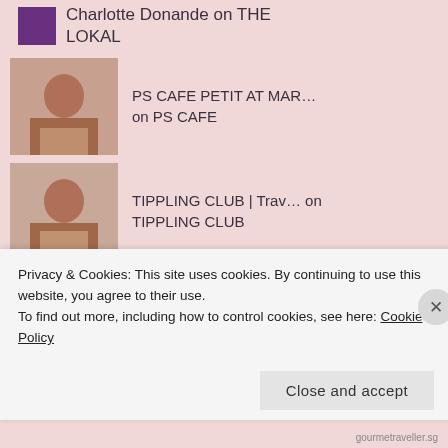Charlotte Donande on THE LOKAL
[Figure (photo): Close-up photo thumbnail of a person's face]
PS CAFE PETIT AT MAR… on PS CAFE
[Figure (photo): Close-up photo thumbnail of a person's face]
TIPPLING CLUB | Trav… on TIPPLING CLUB
[Figure (photo): Photo thumbnail of a person wearing sunglasses]
Gourmet Traveller on SARSA
[Figure (photo): Photo thumbnail of a person wearing sunglasses]
Gourmet Traveller on
Privacy & Cookies: This site uses cookies. By continuing to use this website, you agree to their use.
To find out more, including how to control cookies, see here: Cookie Policy
Close and accept